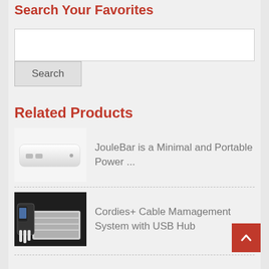Search Your Favorites
[Figure (screenshot): Search input text box (white rectangle)]
Search
Related Products
[Figure (photo): JouleBar portable power bank, white rectangular device with USB ports]
JouleBar is a Minimal and Portable Power ...
[Figure (photo): Cordies+ Cable Management System with USB Hub product on dark desk with keyboard and white cables]
Cordies+ Cable Mamagement System with USB Hub